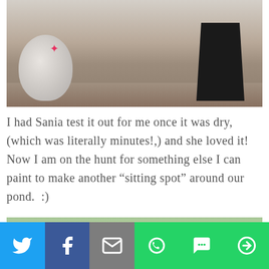[Figure (photo): Photo of a painted concrete or stone object on dirt ground with a black metal fork-lift attachment in the background, and a red star visible on the stone.]
I had Sania test it out for me once it was dry, (which was literally minutes!,) and she loved it!  Now I am on the hunt for something else I can paint to make another “sitting spot” around our pond.  :)
[Figure (photo): Photo of a person (child) sitting outdoors with greenery and fence in the background, partially visible with dark hair.]
[Figure (screenshot): Social media share bar with icons for Twitter, Facebook, Email, WhatsApp, SMS, and More.]